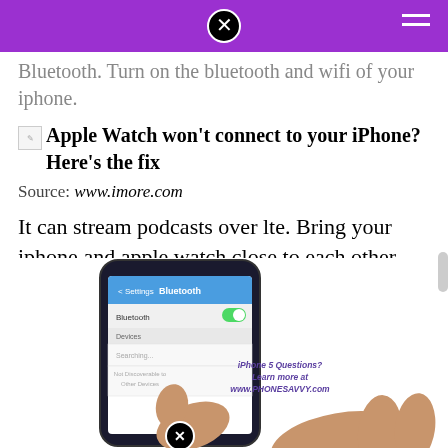Bluetooth. Turn on the bluetooth and wifi of your iphone.
Apple Watch won't connect to your iPhone? Here's the fix
Source: www.imore.com
It can stream podcasts over lte. Bring your iphone and apple watch close to each other.
[Figure (photo): A hand touching an iPhone screen showing Bluetooth settings, with text 'iPhone 5 Questions? Learn more at www.PHONESAVVY.com']